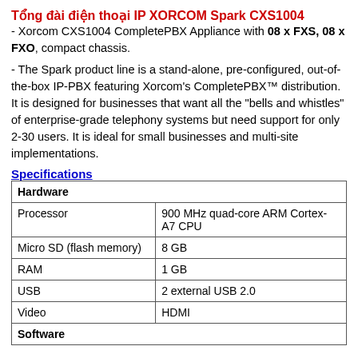Tổng đài điện thoại IP XORCOM Spark CXS1004
- Xorcom CXS1004 CompletePBX Appliance with 08 x FXS, 08 x FXO, compact chassis.
- The Spark product line is a stand-alone, pre-configured, out-of-the-box IP-PBX featuring Xorcom's CompletePBX™ distribution. It is designed for businesses that want all the "bells and whistles" of enterprise-grade telephony systems but need support for only 2-30 users. It is ideal for small businesses and multi-site implementations.
Specifications
| Hardware |  |
| --- | --- |
| Processor | 900 MHz quad-core ARM Cortex-A7 CPU |
| Micro SD (flash memory) | 8 GB |
| RAM | 1 GB |
| USB | 2 external USB 2.0 |
| Video | HDMI |
| Software |  |